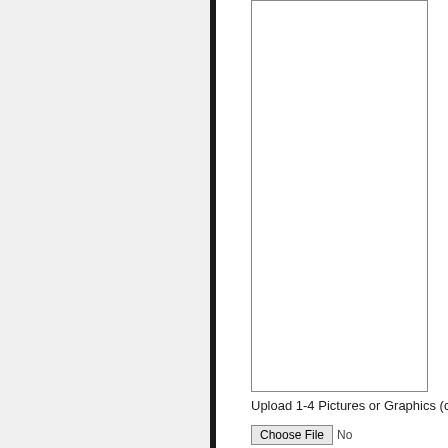[Figure (other): Empty white upload area box with thin border, representing an image upload placeholder region.]
Upload 1-4 Pictures or Graphics (c
Choose File  No